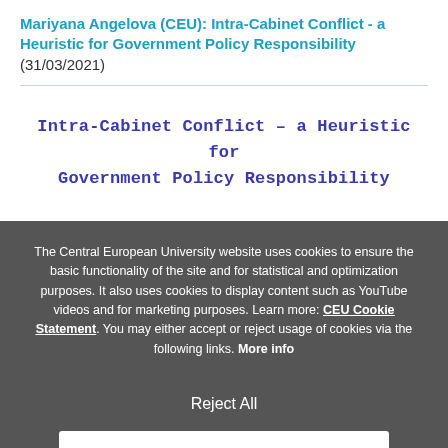Mariyana Angelova (CEU): Intra-Cabinet Conflict - a Heuristic for Government Policy Responsibility (31/03/2021)
Intra-Cabinet Conflict - a Heuristic for Government Policy Responsibility
The Central European University website uses cookies to ensure the basic functionality of the site and for statistical and optimization purposes. It also uses cookies to display content such as YouTube videos and for marketing purposes. Learn more: CEU Cookie Statement. You may either accept or reject usage of cookies via the following links. More info
Reject All